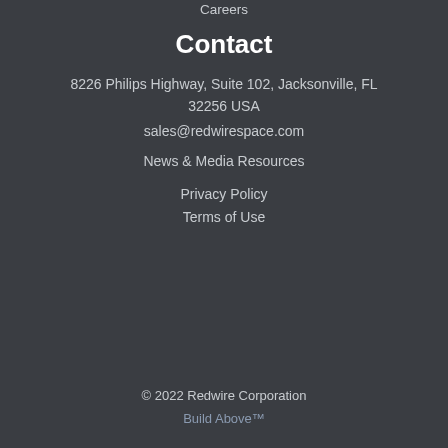Careers
Contact
8226 Philips Highway, Suite 102, Jacksonville, FL 32256 USA
sales@redwirespace.com
News & Media Resources
Privacy Policy
Terms of Use
© 2022 Redwire Corporation
Build Above™